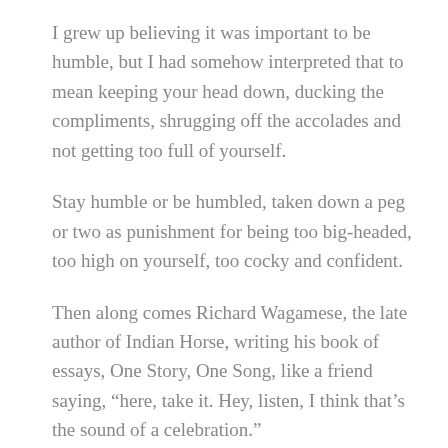I grew up believing it was important to be humble, but I had somehow interpreted that to mean keeping your head down, ducking the compliments, shrugging off the accolades and not getting too full of yourself.
Stay humble or be humbled, taken down a peg or two as punishment for being too big-headed, too high on yourself, too cocky and confident.
Then along comes Richard Wagamese, the late author of Indian Horse, writing his book of essays, One Story, One Song, like a friend saying, “here, take it. Hey, listen, I think that’s the sound of a celebration.”
“The old ones say that humility is the foundation of everything,” writes